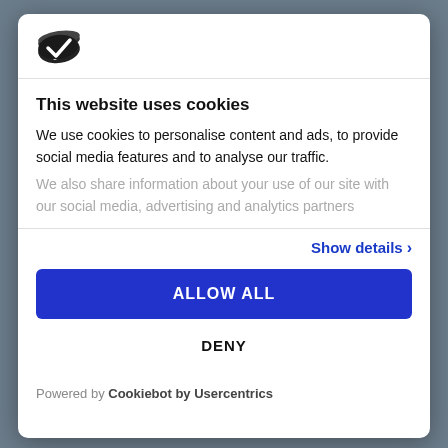[Figure (logo): Cookiebot/Usercentrics logo — dark oval shield/checkmark icon]
This website uses cookies
We use cookies to personalise content and ads, to provide social media features and to analyse our traffic. We also share information about your use of our site with our social media, advertising and analytics partners
Show details ›
ALLOW ALL
DENY
Powered by Cookiebot by Usercentrics